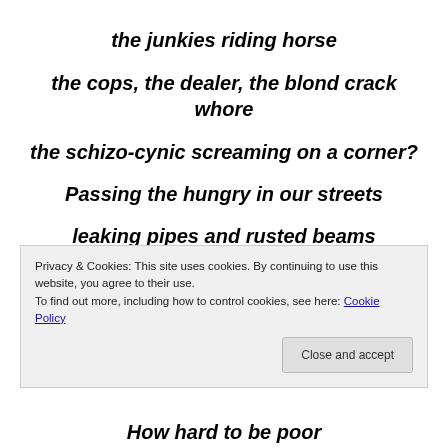the junkies riding horse
the cops, the dealer, the blond crack
whore
the schizo-cynic screaming on a corner?
Passing the hungry in our streets
leaking pipes and rusted beams
Privacy & Cookies: This site uses cookies. By continuing to use this website, you agree to their use.
To find out more, including how to control cookies, see here: Cookie Policy
How hard to be poor